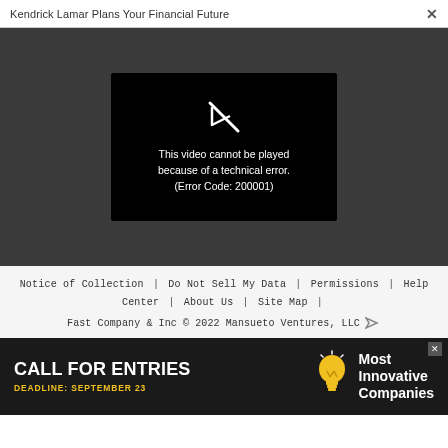Kendrick Lamar Plans Your Financial Future   ×
[Figure (screenshot): Video player showing error message on dark gray background. Black video frame with broken play button icon and text: 'This video cannot be played because of a technical error. (Error Code: 200001)']
Notice of Collection | Do Not Sell My Data | Permissions | Help Center | About Us | Site Map | Fast Company & Inc © 2022 Mansueto Ventures, LLC
[Figure (infographic): Advertisement banner: 'CALL FOR ENTRIES' in large bold white text, 'DEADLINE: SEPTEMBER 23' in yellow, lightbulb icon, 'Most Innovative Companies' in white bold text on dark background. Close button (X) in top right corner.]